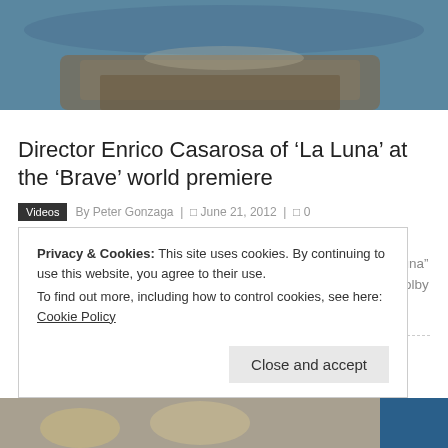[Figure (photo): Top portion of an animated film scene showing a boat and sky background, from Pixar's La Luna or Brave.]
Director Enrico Casarosa of ‘La Luna’ at the ‘Brave’ world premiere
Videos  By Peter Gonzaga | □ June 21, 2012 | □ 0
Front Row Features Wire / Pacific Rim Video correspondent Joleethal talks to director Enrico Casarosa of the film short “La Luna” during the world premiere of Disney/Pixar’s “Brave” held at the Dolby Theatre in Hollywood, CA on Monday, June 18, 2012.  [...]
Privacy & Cookies: This site uses cookies. By continuing to use this website, you agree to their use.
To find out more, including how to control cookies, see here: Cookie Policy
Close and accept
[Figure (photo): Bottom strip showing animated characters from Pixar film.]